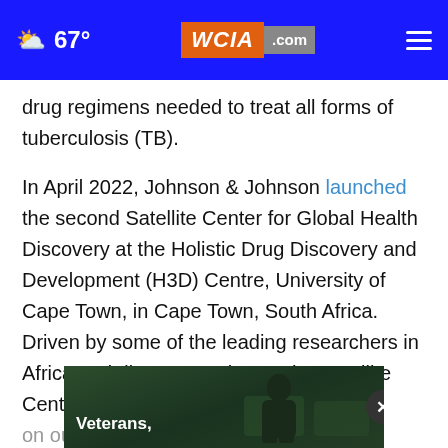67° WCIA.com
drug regimens needed to treat all forms of tuberculosis (TB).
In April 2022, Johnson & Johnson launched the second Satellite Center for Global Health Discovery at the Holistic Drug Discovery and Development (H3D) Centre, University of Cape Town, in Cape Town, South Africa. Driven by some of the leading researchers in Africa and discovery science, the Satellite Center focused on our … bial resistance (AMR) by accelerating innovation
[Figure (screenshot): Video overlay thumbnail showing a person, with label 'Veterans,' and a close (X) button]